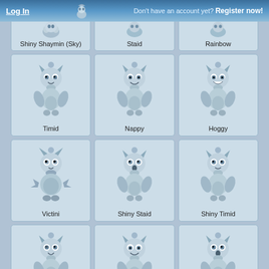Log In  Don't have an account yet? Register now!
Shiny Shaymin (Sky)
Staid
Rainbow
[Figure (illustration): Cartoon creature illustration - Timid]
Timid
[Figure (illustration): Cartoon creature illustration - Nappy]
Nappy
[Figure (illustration): Cartoon creature illustration - Hoggy]
Hoggy
[Figure (illustration): Cartoon creature illustration - Victini]
Victini
[Figure (illustration): Cartoon creature illustration - Shiny Staid]
Shiny Staid
[Figure (illustration): Cartoon creature illustration - Shiny Timid]
Shiny Timid
[Figure (illustration): Cartoon creature illustration - Shiny Rainbow]
Shiny Rainbow
[Figure (illustration): Cartoon creature illustration - Shiny Nappy]
Shiny Nappy
[Figure (illustration): Cartoon creature illustration - Shiny Bold]
Shiny Bold